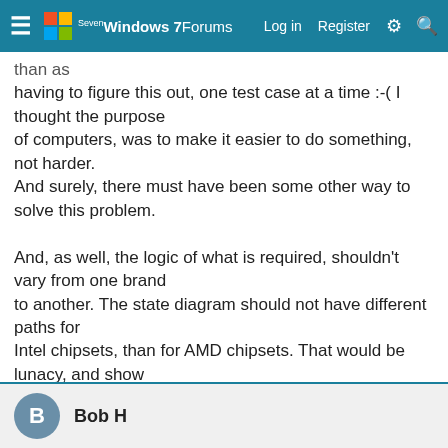Windows 7 Forums — Log in  Register
than as
having to figure this out, one test case at a time :-( I thought the purpose
of computers, was to make it easier to do something, not harder.
And surely, there must have been some other way to solve this problem.

And, as well, the logic of what is required, shouldn't vary from one brand
to another. The state diagram should not have different paths for
Intel chipsets, than for AMD chipsets. That would be lunacy, and show
a lack of proper architecting by the OS manufacturer.

Paul
Bob H